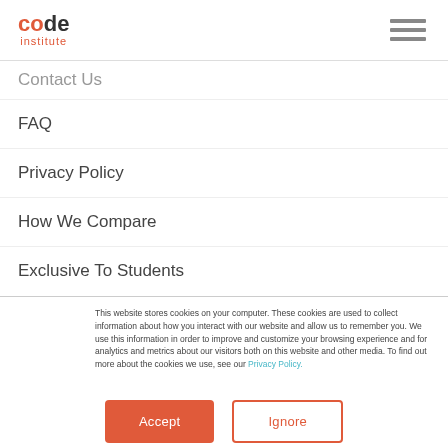code institute
Contact Us
FAQ
Privacy Policy
How We Compare
Exclusive To Students
This website stores cookies on your computer. These cookies are used to collect information about how you interact with our website and allow us to remember you. We use this information in order to improve and customize your browsing experience and for analytics and metrics about our visitors both on this website and other media. To find out more about the cookies we use, see our Privacy Policy.
Accept
Ignore